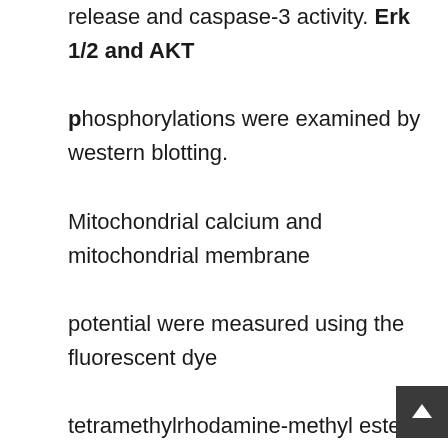release and caspase-3 activity. Erk 1/2 and AKT phosphorylations were examined by western blotting. Mitochondrial calcium and mitochondrial membrane potential were measured using the fluorescent dye tetramethylrhodamine-methyl ester. It was found that HUJlnin and c(d-ser14)HN conferred significant dose-dependent neuroprotection, a phenomenon related to attenuation of OGD insult-induced Erk 1/2 phosphorylation, stimulation of AKT phosphorylation and improvement of mitochondrial functions. These peptides also conferred myoprotective effect towards (Dox)-induced apo-necrotic cell death insults.